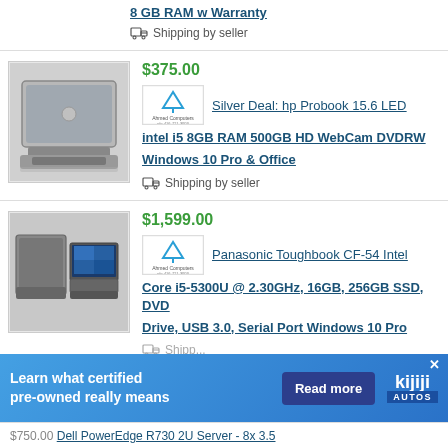8 GB RAM w Warranty
Shipping by seller
[Figure (photo): HP Probook laptop, silver lid, viewed from rear angle]
$375.00
[Figure (logo): Ahmed Computers logo with phone number]
Silver Deal: hp Probook 15.6 LED
intel i5 8GB RAM 500GB HD WebCam DVDRW Windows 10 Pro & Office
Shipping by seller
[Figure (photo): Panasonic Toughbook CF-54 rugged laptop, two views]
$1,599.00
[Figure (logo): Ahmed Computers logo with phone number]
Panasonic Toughbook CF-54 Intel
Core i5-5300U @ 2.30GHz, 16GB, 256GB SSD, DVD Drive, USB 3.0, Serial Port Windows 10 Pro
Shipping by seller
Learn what certified pre-owned really means
$750.00 Dell PowerEdge R730 2U Server - 8x 3.5